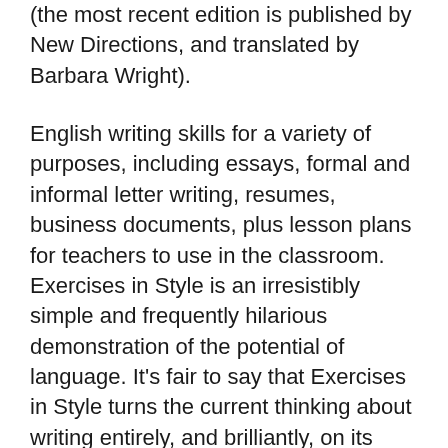(the most recent edition is published by New Directions, and translated by Barbara Wright).
English writing skills for a variety of purposes, including essays, formal and informal letter writing, resumes, business documents, plus lesson plans for teachers to use in the classroom. Exercises in Style is an irresistibly simple and frequently hilarious demonstration of the potential of language. It's fair to say that Exercises in Style turns the current thinking about writing entirely, and brilliantly, on its head.
Barbara Wright's English translations of